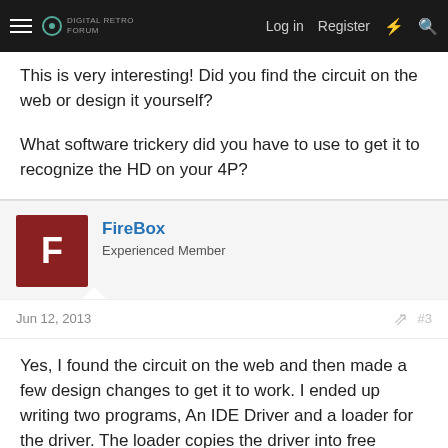Log in  Register
This is very interesting! Did you find the circuit on the web or design it yourself?

What software trickery did you have to use to get it to recognize the HD on your 4P?
FireBox
Experienced Member
Jun 12, 2013  #3
Yes, I found the circuit on the web and then made a few design changes to get it to work. I ended up writing two programs, An IDE Driver and a loader for the driver. The loader copies the driver into free memory past the cp/m bios and fcbs then re-writes the ramdrive sector read/write vector to point at the new driver. The loader also updates the DPB (disk parameter block) for the ramdrive to match a 5meg HD.